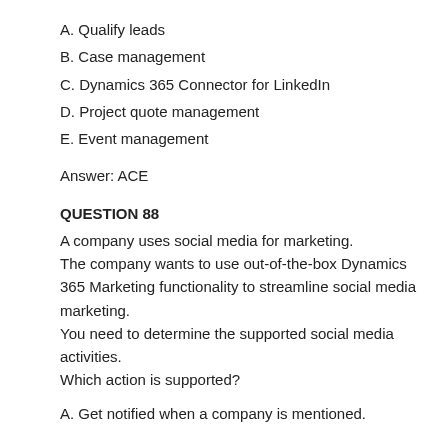A. Qualify leads
B. Case management
C. Dynamics 365 Connector for LinkedIn
D. Project quote management
E. Event management
Answer: ACE
QUESTION 88
A company uses social media for marketing.
The company wants to use out-of-the-box Dynamics 365 Marketing functionality to streamline social media marketing.
You need to determine the supported social media activities.
Which action is supported?
A. Get notified when a company is mentioned.